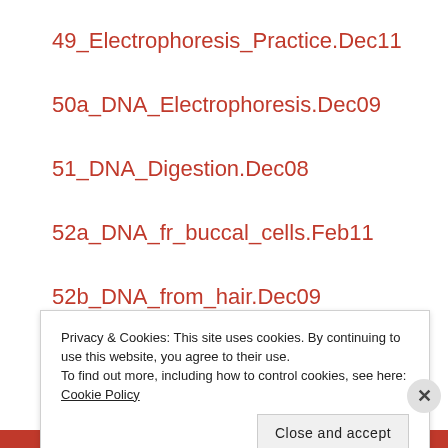49_Electrophoresis_Practice.Dec11
50a_DNA_Electrophoresis.Dec09
51_DNA_Digestion.Dec08
52a_DNA_fr_buccal_cells.Feb11
52b_DNA_from_hair.Dec09
Privacy & Cookies: This site uses cookies. By continuing to use this website, you agree to their use. To find out more, including how to control cookies, see here: Cookie Policy
Close and accept